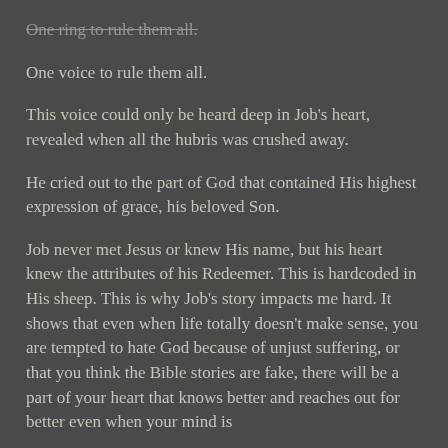One ring to rule them all.
One voice to rule them all.
This voice could only be heard deep in Job's heart, revealed when all the hubris was crushed away.
He cried out to the part of God that contained His highest expression of grace, his beloved Son.
Job never met Jesus or knew His name, but his heart knew the attributes of his Redeemer. This is hardcoded in His sheep. This is why Job's story impacts me hard. It shows that even when life totally doesn't make sense, you are tempted to hate God because of unjust suffering, or that you think the Bible stories are fake, there will be a part of your heart that knows better and reaches out for better even when your mind is